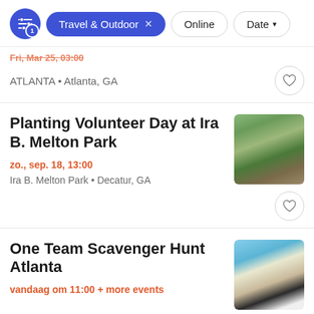[Figure (screenshot): Filter bar with active Travel & Outdoor filter chip, Online button, and Date dropdown]
Fri, Mar 25, 03:00 (partially visible, struck through)
ATLANTA • Atlanta, GA
Planting Volunteer Day at Ira B. Melton Park
zo., sep. 18, 13:00
Ira B. Melton Park • Decatur, GA
[Figure (photo): Photo of a park with green grass plants and bare soil]
One Team Scavenger Hunt Atlanta
vandaag om 11:00 + more events
[Figure (photo): Photo of two people outdoors, one pointing at the camera]